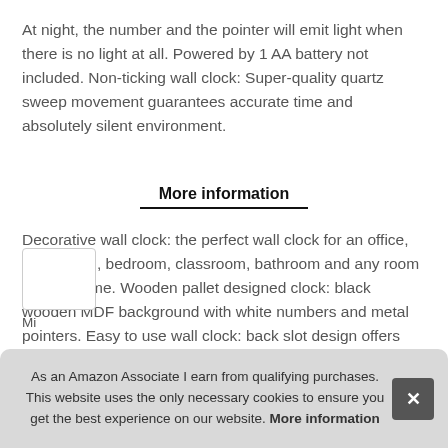At night, the number and the pointer will emit light when there is no light at all. Powered by 1 AA battery not included. Non-ticking wall clock: Super-quality quartz sweep movement guarantees accurate time and absolutely silent environment.
More information
Decorative wall clock: the perfect wall clock for an office, living room, bedroom, classroom, bathroom and any room in your home. Wooden pallet designed clock: black wooden MDF background with white numbers and metal pointers. Easy to use wall clock: back slot design offers easy installation.
As an Amazon Associate I earn from qualifying purchases. This website uses the only necessary cookies to ensure you get the best experience on our website. More information